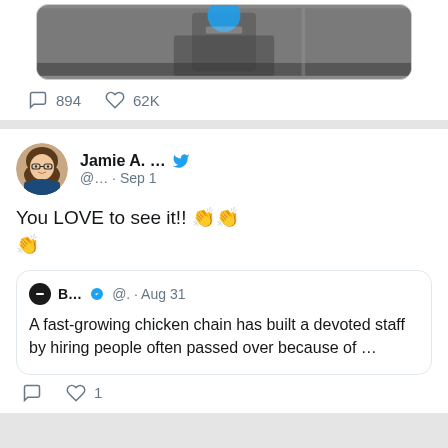[Figure (screenshot): Partial tweet image thumbnail showing a grayscale photo of a person]
894   62K
[Figure (screenshot): Tweet by Jamie A. with Twitter blue bird icon, handle @... Sep 1, text: You LOVE to see it!! 👏👏👏, with a quoted tweet from B... @. Aug 31 saying: A fast-growing chicken chain has built a devoted staff by hiring people often passed over because of …]
1